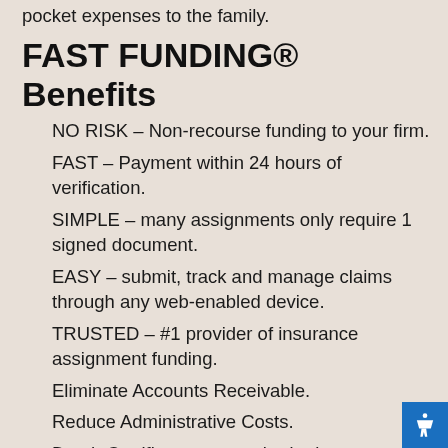pocket expenses to the family.
FAST FUNDING® Benefits
NO RISK – Non-recourse funding to your firm.
FAST – Payment within 24 hours of verification.
SIMPLE – many assignments only require 1 signed document.
EASY – submit, track and manage claims through any web-enabled device.
TRUSTED – #1 provider of insurance assignment funding.
Eliminate Accounts Receivable.
Reduce Administrative Costs.
Death Certificate not required prior to